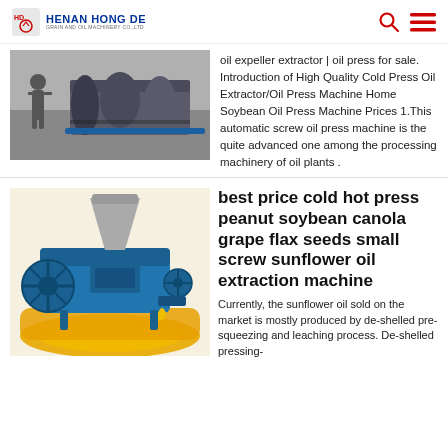HENAN HONG DE GRAIN AND OIL MACHINERY CO.,LTD
[Figure (photo): Industrial oil press/extruder machine in a factory setting, showing large cylindrical equipment with a worker nearby]
oil expeller extractor | oil press for sale. Introduction of High Quality Cold Press Oil Extractor/Oil Press Machine Home Soybean Oil Press Machine Prices 1.This automatic screw oil press machine is the quite advanced one among the processing machinery of oil plants .
[Figure (photo): Blue screw oil press machine with a large flywheel and hopper, with golden oil droplets and a pool of oil below on a yellow background]
best price cold hot press peanut soybean canola grape flax seeds small screw sunflower oil extraction machine
Currently, the sunflower oil sold on the market is mostly produced by de-shelled pre-squeezing and leaching process. De-shelled pressing-